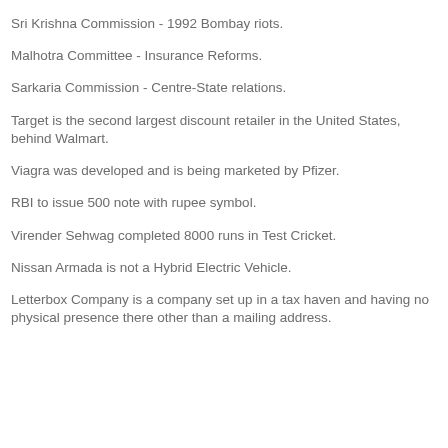Sri Krishna Commission - 1992 Bombay riots.
Malhotra Committee - Insurance Reforms.
Sarkaria Commission - Centre-State relations.
Target is the second largest discount retailer in the United States, behind Walmart.
Viagra was developed and is being marketed by Pfizer.
RBI to issue 500 note with rupee symbol.
Virender Sehwag completed 8000 runs in Test Cricket.
Nissan Armada is not a Hybrid Electric Vehicle.
Letterbox Company is a company set up in a tax haven and having no physical presence there other than a mailing address.